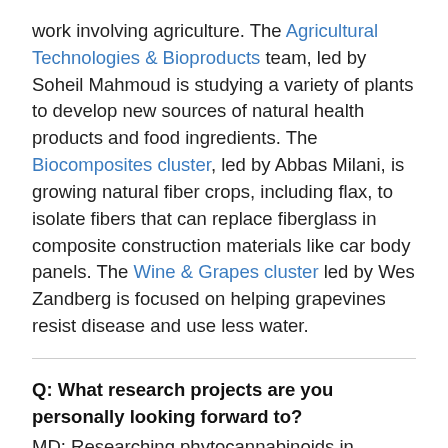work involving agriculture. The Agricultural Technologies & Bioproducts team, led by Soheil Mahmoud is studying a variety of plants to develop new sources of natural health products and food ingredients. The Biocomposites cluster, led by Abbas Milani, is growing natural fiber crops, including flax, to isolate fibers that can replace fiberglass in composite construction materials like car body panels. The Wine & Grapes cluster led by Wes Zandberg is focused on helping grapevines resist disease and use less water.
Q: What research projects are you personally looking forward to?
MD: Researching phytocannabinoids in rhododendrons. It started as a curiosity of mine, something with potential applications that has